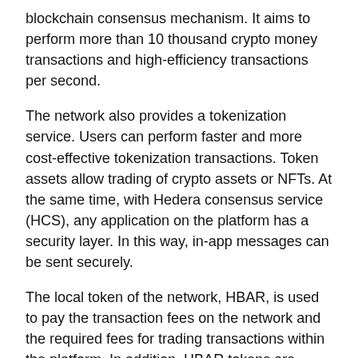blockchain consensus mechanism. It aims to perform more than 10 thousand crypto money transactions and high-efficiency transactions per second.
The network also provides a tokenization service. Users can perform faster and more cost-effective tokenization transactions. Token assets allow trading of crypto assets or NFTs. At the same time, with Hedera consensus service (HCS), any application on the platform has a security layer. In this way, in-app messages can be sent securely.
The local token of the network, HBAR, is used to pay the transaction fees on the network and the required fees for trading transactions within the platform. In addition, HBAR tokens are given as a reward to those running nodes in the network working with PoS system. The total supply of HBAR token is 50 billion, while its circulating supply is 7.5 billion.